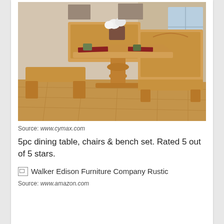[Figure (photo): 5-piece dining table corner booth set with wooden bench seating, corner bench, and pedestal table on hardwood floor. Flowers and mugs on table. Source: www.cymax.com]
Source: www.cymax.com
5pc dining table, chairs & bench set. Rated 5 out of 5 stars.
[Figure (photo): Walker Edison Furniture Company Rustic [broken image placeholder]]
Source: www.amazon.com